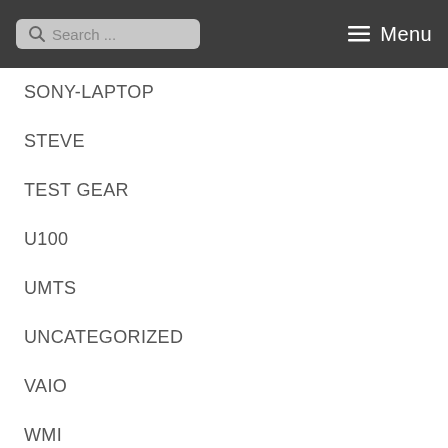Search ... Menu
SONY-LAPTOP
STEVE
TEST GEAR
U100
UMTS
UNCATEGORIZED
VAIO
WMI
Z21
META
Log in